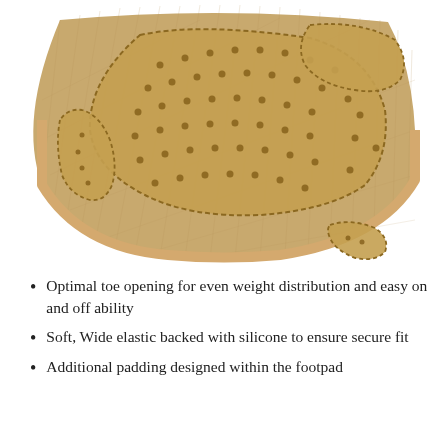[Figure (photo): Close-up photo of a beige/tan ballet dance half sole foot pad with perforated suede leather padding sections stitched onto a knit fabric base, showing toe opening design and multiple padding zones]
Optimal toe opening for even weight distribution and easy on and off ability
Soft, Wide elastic backed with silicone to ensure secure fit
Additional padding designed within the footpad